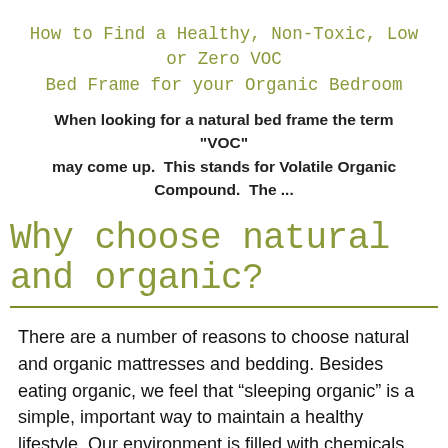How to Find a Healthy, Non-Toxic, Low or Zero VOC Bed Frame for your Organic Bedroom
When looking for a natural bed frame the term "VOC" may come up.  This stands for Volatile Organic Compound.  The ...
Why choose natural and organic?
There are a number of reasons to choose natural and organic mattresses and bedding. Besides eating organic, we feel that “sleeping organic” is a simple, important way to maintain a healthy lifestyle. Our environment is filled with chemicals and toxins, including a lot of the mattresses on the